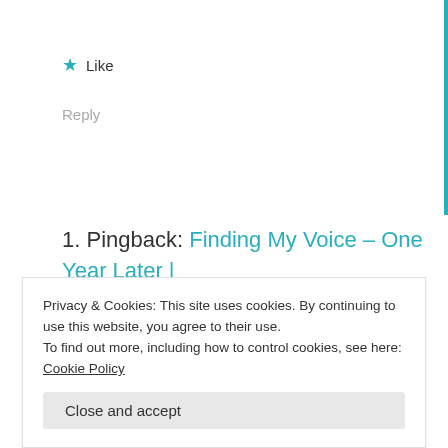★ Like
Reply
1. Pingback: Finding My Voice – One Year Later | The World Through My Eyes
Privacy & Cookies: This site uses cookies. By continuing to use this website, you agree to their use. To find out more, including how to control cookies, see here: Cookie Policy
Close and accept
for that matter. But once I saw this on the